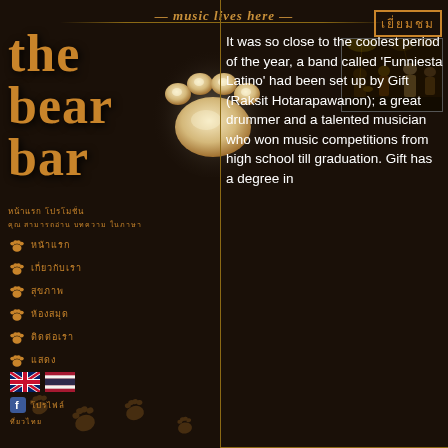music lives here
the bear bar
[Figure (illustration): Bear paw print logo with glowing golden/cream paw pad on dark background]
Thai navigation menu with paw print bullet icons listing menu items in Thai script
[Figure (illustration): UK flag and Thai flag icons for language selection]
[Figure (illustration): Facebook icon with Thai text link]
Thai text (footer/extra link)
Thai header text box (right column)
[Figure (photo): Band performing on stage, musicians playing instruments including drums, dark venue lighting]
It was so close to the coolest period of the year, a band called 'Funniesta Latino' had been set up by Gift (Raksit Hotarapawanon); a great drummer and a talented musician who won music competitions from high school till graduation. Gift has a degree in
[Figure (illustration): Decorative bear paw prints at the bottom of the page]